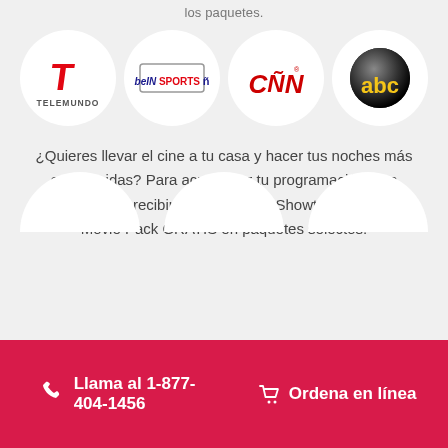los paquetes.
[Figure (logo): Four channel logos in circular frames: Telemundo, beIN Sports ñ, CNN en Español, ABC]
¿Quieres llevar el cine a tu casa y hacer tus noches más entretenidas? Para acrecentar tu programación, con DishLATINO recibirás 3 meses de Showtime® y DISH Movie Pack GRATIS en paquetes selectos.
Llama al 1-877-404-1456
Ordena en línea